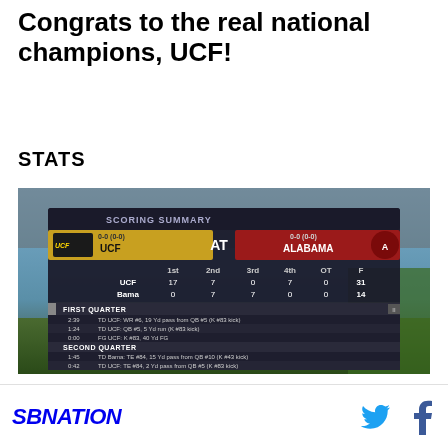Congrats to the real national champions, UCF!
STATS
[Figure (screenshot): Scoring summary screen showing UCF vs Alabama. UCF wins 31-14. Score by quarter: UCF 17, 7, 0, 7, OT 0, Final 31. Bama 0, 7, 7, 0, OT 0, Final 14. Scoring plays listed by quarter including touchdowns and field goals.]
SBNATION